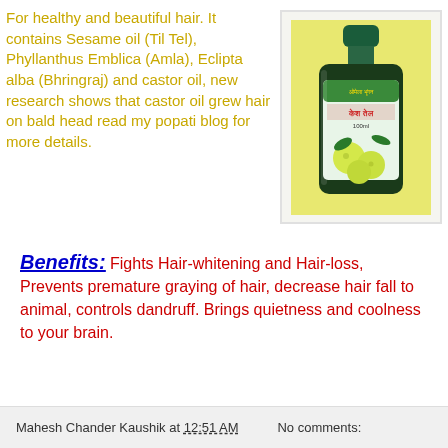For healthy and beautiful hair. It contains Sesame oil (Til Tel), Phyllanthus Emblica (Amla), Eclipta alba (Bhringraj) and castor oil, new research shows that castor oil grew hair on bald head read my popati blog for more details.
[Figure (photo): A bottle of hair oil product with green cap and label showing Hindi text and amla fruits, 100ml bottle]
Benefits: Fights Hair-whitening and Hair-loss, Prevents premature graying of hair, decrease hair fall to animal, controls dandruff. Brings quietness and coolness to your brain.
Mahesh Chander Kaushik at 12:51 AM   No comments: